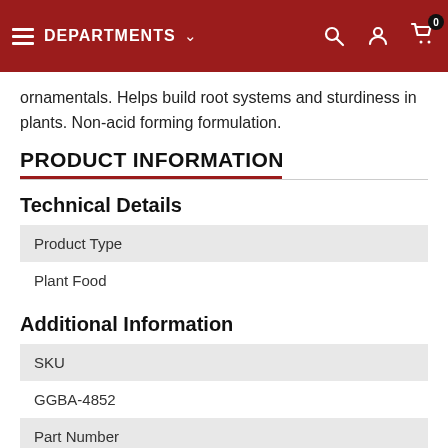DEPARTMENTS
ornamentals. Helps build root systems and sturdiness in plants. Non-acid forming formulation.
PRODUCT INFORMATION
Technical Details
| Product Type |
| --- |
| Plant Food |
Additional Information
| SKU |
| --- |
| GGBA-4852 |
| Part Number |